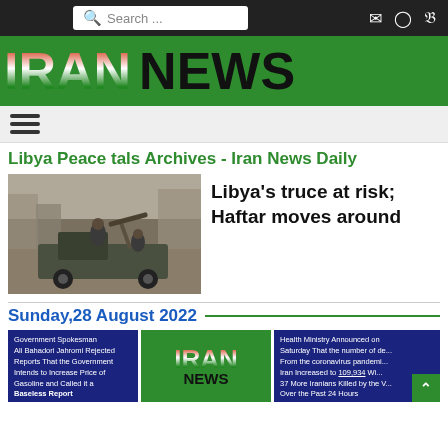Search ... [search bar] [social icons]
[Figure (logo): IRAN NEWS logo on green background]
[Figure (other): Hamburger navigation menu icon]
Libya Peace tals Archives - Iran News Daily
[Figure (photo): Armed militants on a pickup truck with mounted gun in Libya]
Libya's truce at risk; Haftar moves around
Sunday,28 August 2022
[Figure (screenshot): Bottom cards: Government Spokesman Ali Bahadori Jahromi Rejected Reports That the Government Intends to Increase Price of Gasoline and Called it a Baseless Report | IRAN NEWS logo | Health Ministry Announced on Saturday That the number of deaths From the coronavirus pandemic in Iran Increased to 109,934 With 37 More Iranians Killed by the Virus Over the Past 24 Hours]